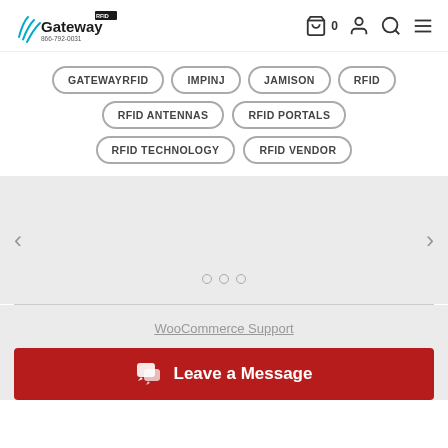Gateway RFID 866-792-0031
GATEWAYRFID
IMPINJ
JAMISON
RFID
RFID ANTENNAS
RFID PORTALS
RFID TECHNOLOGY
RFID VENDOR
[Figure (other): Carousel slider section with left and right navigation arrows and three pagination dots]
WooCommerce Support
Leave a Message